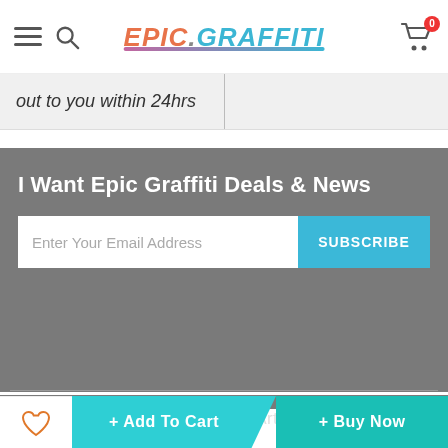Epic Graffiti — navigation header with hamburger menu, search icon, logo, and cart (0 items)
Out to you within 24hrs
I Want Epic Graffiti Deals & News
Enter Your Email Address
SUBSCRIBE
We LOVE our Artists
About Us
Shipping
+ Add To Cart  + Buy Now